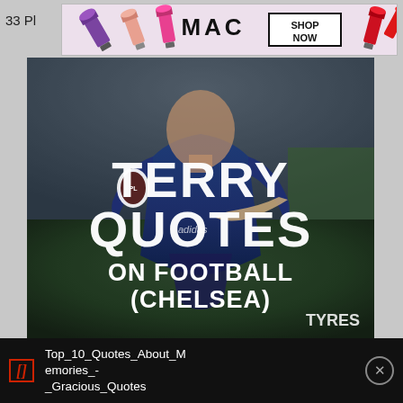33 Pl
[Figure (screenshot): MAC cosmetics advertisement banner with lipstick products and 'SHOP NOW' text]
[Figure (photo): Football player in Chelsea blue kit with text overlay: TERRY QUOTES ON FOOTBALL (CHELSEA)]
Top_10_Quotes_About_Memories_-_Gracious_Quotes